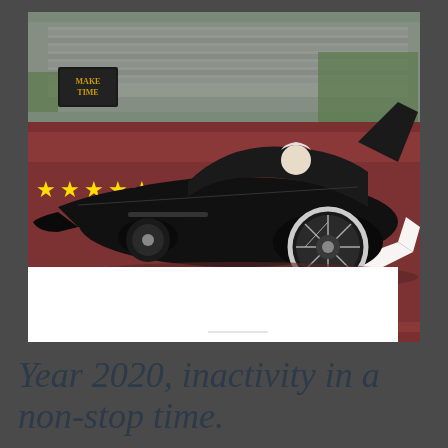[Figure (screenshot): A video game or animated scene showing a sleek black racing car on a red race track, with a stadium grandstand visible in the background. The car has a futuristic low-profile design with spoke wheels. A character with white/gray hair is visible in the open cockpit. Yellow stars are visible on the left side of the track. A white geometric arrow marking is visible on the track surface. A white rectangular overlay partially covers the lower-left portion of the image.]
Year 2020, inactivity in a non-stop time.